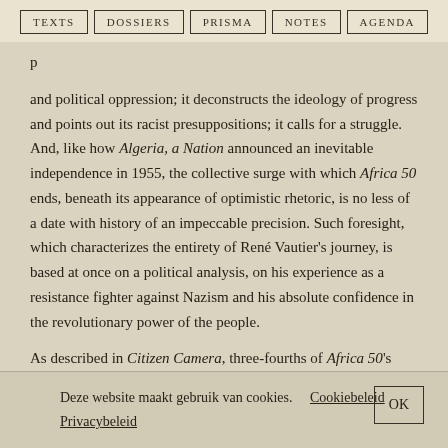TEXTS  DOSSIERS  PRISMA  NOTES  AGENDA
and political oppression; it deconstructs the ideology of progress and points out its racist presuppositions; it calls for a struggle. And, like how Algeria, a Nation announced an inevitable independence in 1955, the collective surge with which Africa 50 ends, beneath its appearance of optimistic rhetoric, is no less of a date with history of an impeccable precision. Such foresight, which characterizes the entirety of René Vautier's journey, is based at once on a political analysis, on his experience as a resistance fighter against Nazism and his absolute confidence in the revolutionary power of the people.
As described in Citizen Camera, three-fourths of Africa 50's
Deze website maakt gebruik van cookies.  Cookiebeleid  Privacybeleid